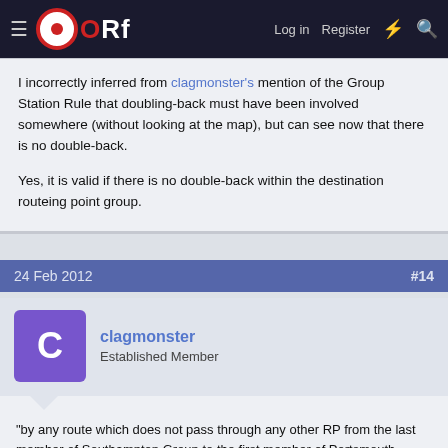ORf — Log in | Register
I incorrectly inferred from clagmonster's mention of the Group Station Rule that doubling-back must have been involved somewhere (without looking at the map), but can see now that there is no double-back.

Yes, it is valid if there is no double-back within the destination routeing point group.
24 Feb 2012  #14
clagmonster
Established Member
"by any route which does not pass through any other RP from the last member of Southampton Group to the first member of Portsmouth Group (Fareham)."
"There are two such routes:
Southampton Airport Parkway - Eastleigh - Fareham"
Eastleigh is a routeing point.
http://www.atoc.org/clientfiles/File/routeing_point_identifier.pdf page 21